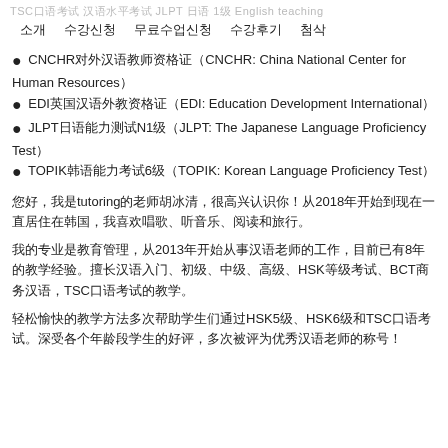TSC口语考试 汉语水平考试 JLPT 日语 1级 English teaching
소개　　수강신청　　무료수업신청　　수강후기　　첨삭
● CNCHR对外汉语教师资格证（CNCHR: China National Center for Human Resources）
● EDI英国汉语外教资格证（EDI: Education Development International）
● JLPT日语能力测试N1级（JLPT: The Japanese Language Proficiency Test）
● TOPIK韩语能力考试6级（TOPIK: Korean Language Proficiency Test）
您好，我是tutoring的老师胡冰清，很高兴认识你！从2018年开始到现在一直居住在韩国，我喜欢唱歌、听音乐、阅读和旅行。
我的专业是教育管理，从2013年开始从事汉语老师的工作，目前已有8年的教学经验。擅长汉语入门、初级、中级、高级、HSK等级考试、BCT商务汉语，TSC口语考试的教学。
轻松愉快的教学方法多次帮助学生们通过HSK5级、HSK6级和TSC口语考试。深受各个年龄段学生的好评，多次被评为优秀汉语老师的称号！